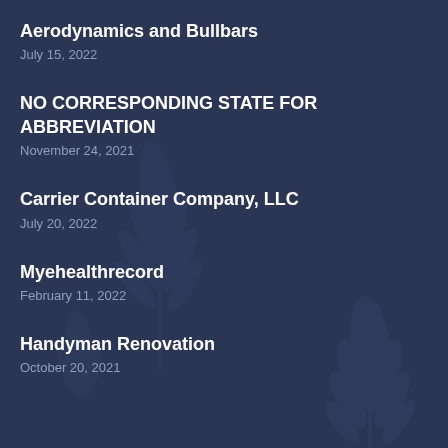Aerodynamics and Bullbars
July 15, 2022
NO CORRESPONDING STATE FOR ABBREVIATION
November 24, 2021
Carrier Container Company, LLC
July 20, 2022
Myehealthrecord
February 11, 2022
Handyman Renovation
October 20, 2021